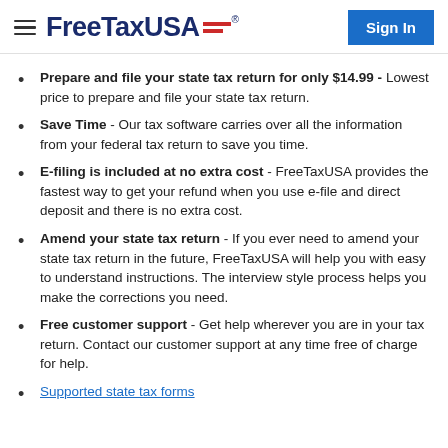FreeTaxUSA — Sign In
Prepare and file your state tax return for only $14.99 - Lowest price to prepare and file your state tax return.
Save Time - Our tax software carries over all the information from your federal tax return to save you time.
E-filing is included at no extra cost - FreeTaxUSA provides the fastest way to get your refund when you use e-file and direct deposit and there is no extra cost.
Amend your state tax return - If you ever need to amend your state tax return in the future, FreeTaxUSA will help you with easy to understand instructions. The interview style process helps you make the corrections you need.
Free customer support - Get help wherever you are in your tax return. Contact our customer support at any time free of charge for help.
Supported state tax forms